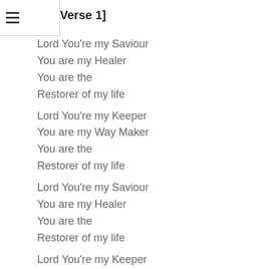[Verse 1]
Lord You're my Saviour
You are my Healer
You are the
Restorer of my life
Lord You're my Keeper
You are my Way Maker
You are the
Restorer of my life
Lord You're my Saviour
You are my Healer
You are the
Restorer of my life
Lord You're my Keeper
You are my Way Maker